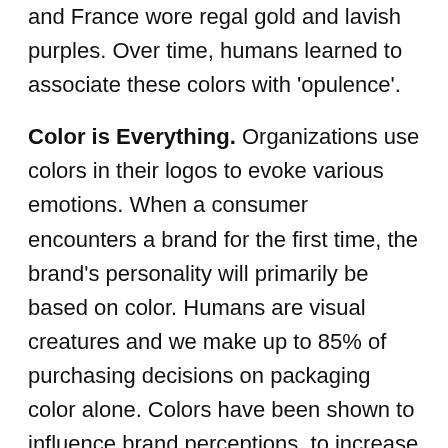and France wore regal gold and lavish purples. Over time, humans learned to associate these colors with 'opulence'.
Color is Everything. Organizations use colors in their logos to evoke various emotions. When a consumer encounters a brand for the first time, the brand's personality will primarily be based on color. Humans are visual creatures and we make up to 85% of purchasing decisions on packaging color alone. Colors have been shown to influence brand perceptions, to increase brand awareness, to drive buyer behavior, and even alter perceived website load times.
Color is NOT Universal. With color being so